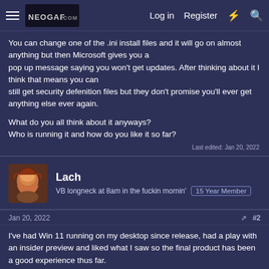NEOGAF.COM | Log in | Register
You can change one of the .ini install files and it will go on almost anything but then Microsoft gives you a pop up message saying you won't get updates. After thinking about it I think that means you can still get security defenition files but they don't promise you'll ever get anything else ever again.

What do you all think about it anyways?
Who is running it and how do you like it so far?
Last edited: Jan 20, 2022
Lach
VB longneck at 8am in the fuckin mornin'
15 Year Member
Jan 20, 2022  #2
I've had Win 11 running on my desktop since release, had a play with an insider preview and liked what I saw so the final product has been a good experience thus far.